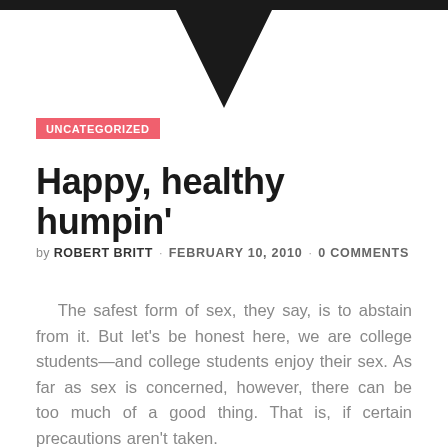[Figure (illustration): Black downward-pointing triangle or chevron shape at the top center of the page]
UNCATEGORIZED
Happy, healthy humpin'
by ROBERT BRITT · FEBRUARY 10, 2010 · 0 COMMENTS
The safest form of sex, they say, is to abstain from it. But let's be honest here, we are college students—and college students enjoy their sex. As far as sex is concerned, however, there can be too much of a good thing. That is, if certain precautions aren't taken.